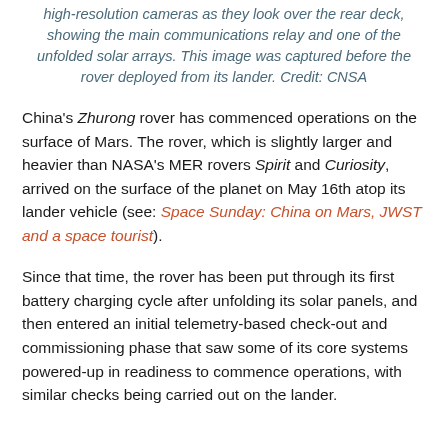high-resolution cameras as they look over the rear deck, showing the main communications relay and one of the unfolded solar arrays. This image was captured before the rover deployed from its lander. Credit: CNSA
China's Zhurong rover has commenced operations on the surface of Mars. The rover, which is slightly larger and heavier than NASA's MER rovers Spirit and Curiosity, arrived on the surface of the planet on May 16th atop its lander vehicle (see: Space Sunday: China on Mars, JWST and a space tourist).
Since that time, the rover has been put through its first battery charging cycle after unfolding its solar panels, and then entered an initial telemetry-based check-out and commissioning phase that saw some of its core systems powered-up in readiness to commence operations, with similar checks being carried out on the lander.